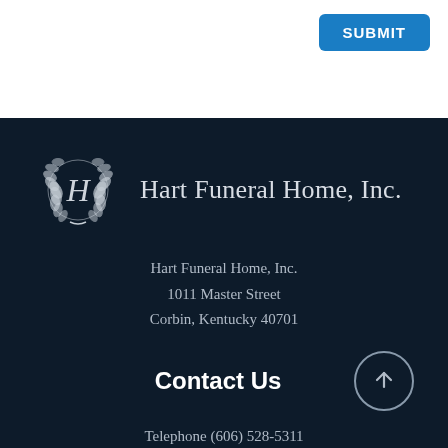SUBMIT
[Figure (logo): Hart Funeral Home, Inc. logo with laurel wreath emblem and serif text]
Hart Funeral Home, Inc.
1011 Master Street
Corbin, Kentucky 40701
Contact Us
Telephone (606) 528-5311
Fax (606) 523-4361